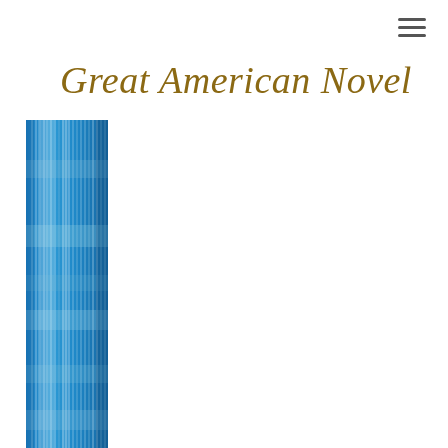[Figure (other): Hamburger menu icon (three horizontal lines) in the top right corner]
Great American Novel
[Figure (photo): A book spine or cover showing a blue and white streaked/textured pattern, resembling a book standing vertically. The texture shows vertical light and dark blue streaks, possibly representing pages of a book viewed from the side or an artistic book cover image.]